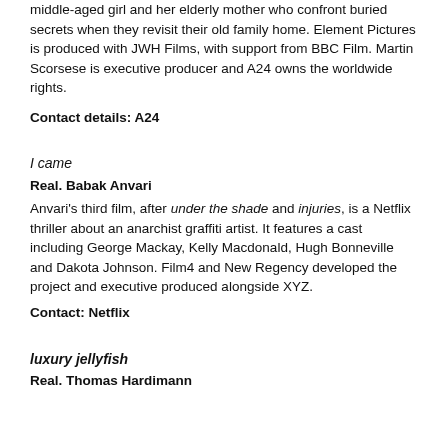middle-aged girl and her elderly mother who confront buried secrets when they revisit their old family home. Element Pictures is produced with JWH Films, with support from BBC Film. Martin Scorsese is executive producer and A24 owns the worldwide rights.
Contact details: A24
I came
Real. Babak Anvari
Anvari's third film, after under the shade and injuries, is a Netflix thriller about an anarchist graffiti artist. It features a cast including George Mackay, Kelly Macdonald, Hugh Bonneville and Dakota Johnson. Film4 and New Regency developed the project and executive produced alongside XYZ.
Contact: Netflix
luxury jellyfish
Real. Thomas Hardimann